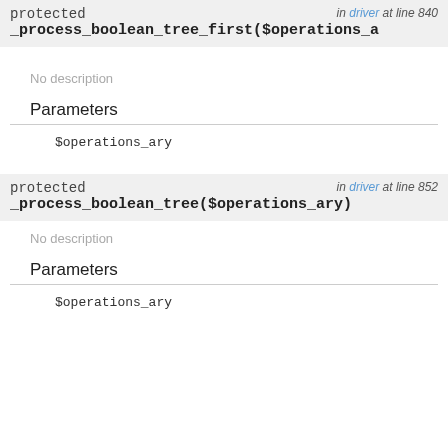protected _process_boolean_tree_first($operations_a   in driver at line 840
No description
Parameters
$operations_ary
protected _process_boolean_tree($operations_ary)   in driver at line 852
No description
Parameters
$operations_ary